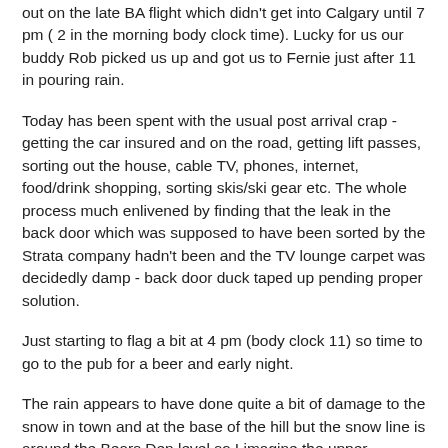out on the late BA flight which didn't get into Calgary until 7 pm ( 2 in the morning body clock time). Lucky for us our buddy Rob picked us up and got us to Fernie just after 11 in pouring rain.
Today has been spent with the usual post arrival crap - getting the car insured and on the road, getting lift passes, sorting out the house, cable TV, phones, internet, food/drink shopping, sorting skis/ski gear etc. The whole process much enlivened by finding that the leak in the back door which was supposed to have been sorted by the Strata company hadn't been and the TV lounge carpet was decidedly damp - back door duck taped up pending proper solution.
Just starting to flag a bit at 4 pm (body clock 11) so time to go to the pub for a beer and early night.
The rain appears to have done quite a bit of damage to the snow in town and at the base of the hill but the snow line is around the Bears Den level so I imagine the upper mountain is pretty good. Plenty of explosions from Patrol bombing the bowls and ridges tended to confirm this view. It will certainly